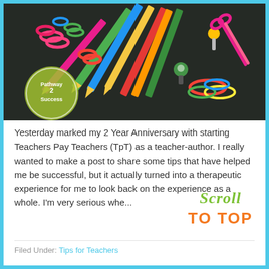[Figure (photo): Colorful school supplies including pencils, scissors, paper clips, push pins, and rubber bands arranged on a dark chalkboard background. A circular logo reading 'Pathway 2 Success' is visible in the lower left of the photo.]
Yesterday marked my 2 Year Anniversary with starting Teachers Pay Teachers (TpT) as a teacher-author. I really wanted to make a post to share some tips that have helped me be successful, but it actually turned into a therapeutic experience for me to look back on the experience as a whole. I'm very serious whe...
[Figure (illustration): Decorative 'SCROLL TO TOP' text in colorful handwritten/brush lettering style - green and orange colors]
Filed Under: Tips for Teachers